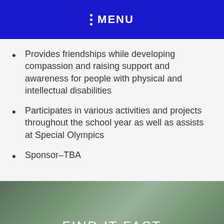MENU
Provides friendships while developing compassion and raising support and awareness for people with physical and intellectual disabilities
Participates in various activities and projects throughout the school year as well as assists at Special Olympics
Sponsor–TBA
FIND IT FAST